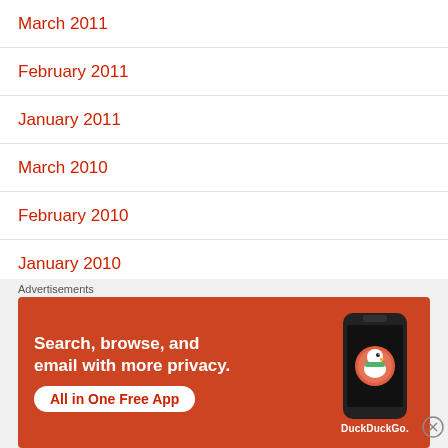March 2011
February 2011
January 2011
March 2010
February 2010
January 2010
October 2009
September 2009
[Figure (other): DuckDuckGo advertisement banner: orange background, text 'Search, browse, and email with more privacy. All in One Free App', with a smartphone image showing the DuckDuckGo app logo.]